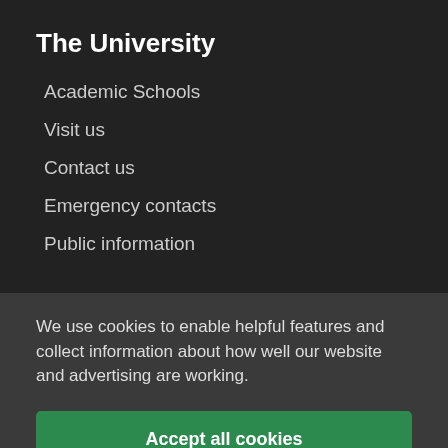The University
Academic Schools
Visit us
Contact us
Emergency contacts
Public information
We use cookies to enable helpful features and collect information about how well our website and advertising are working.
Accept all cookies
Manage your cookie preferences